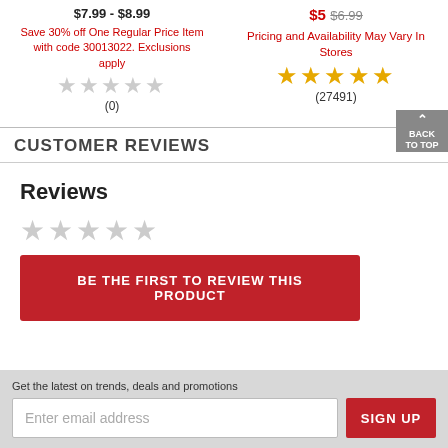$7.99 - $8.99
Save 30% off One Regular Price Item with code 30013022. Exclusions apply
(0)
$5  $6.99
Pricing and Availability May Vary In Stores
(27491)
CUSTOMER REVIEWS
Reviews
BE THE FIRST TO REVIEW THIS PRODUCT
Get the latest on trends, deals and promotions
Enter email address
SIGN UP